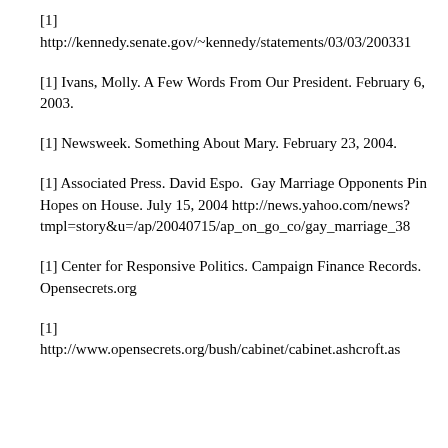[1]
http://kennedy.senate.gov/~kennedy/statements/03/03/200331
[1] Ivans, Molly. A Few Words From Our President. February 6, 2003.
[1] Newsweek. Something About Mary. February 23, 2004.
[1] Associated Press. David Espo.  Gay Marriage Opponents Pin Hopes on House. July 15, 2004 http://news.yahoo.com/news?tmpl=story&u=/ap/20040715/ap_on_go_co/gay_marriage_38
[1] Center for Responsive Politics. Campaign Finance Records. Opensecrets.org
[1]
http://www.opensecrets.org/bush/cabinet/cabinet.ashcroft.as